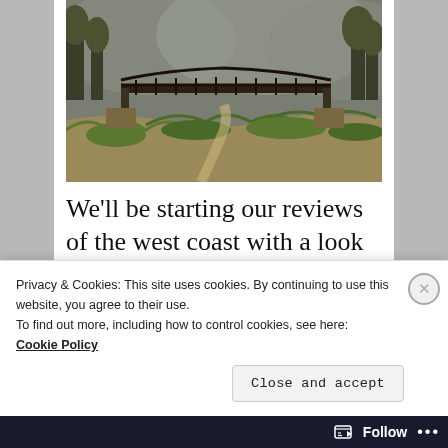[Figure (photo): Outdoor nature scene showing a wooden bridge/walkway over a dry creek bed with green scrub brush and trees, foggy mountains in background]
We’ll be starting our reviews of the west coast with a look at Seattle in a few days
Sponsored Content
Privacy & Cookies: This site uses cookies. By continuing to use this website, you agree to their use.
To find out more, including how to control cookies, see here:
Cookie Policy
Close and accept